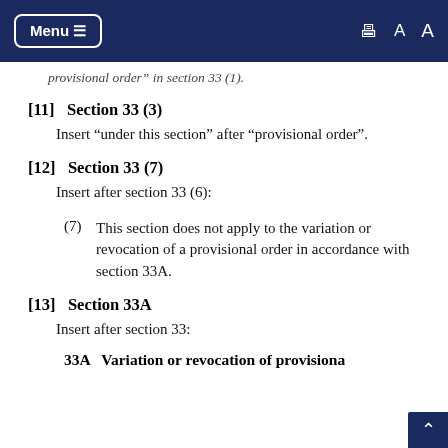Menu ≡ [print] A A
provisional order" in section 33 (1).
[11] Section 33 (3)
Insert "under this section" after "provisional order".
[12] Section 33 (7)
Insert after section 33 (6):
(7) This section does not apply to the variation or revocation of a provisional order in accordance with section 33A.
[13] Section 33A
Insert after section 33:
33A Variation or revocation of provisional...